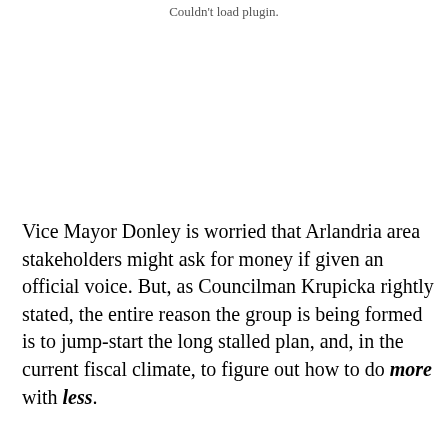Couldn't load plugin.
Vice Mayor Donley is worried that Arlandria area stakeholders might ask for money if given an official voice. But, as Councilman Krupicka rightly stated, the entire reason the group is being formed is to jump-start the long stalled plan, and, in the current fiscal climate, to figure out how to do more with less.
Community organizing, volunteerism, and policy changes could go a long way towards making the community better for current residents and businesses and more appealing for redevelopment. There is energy in the community towards improving things, even if it means chasing down donations from garden centers, mentoring an area youth, or just fighting to clear a perceived zoning hurdle. These actions all make a difference and are virtually free to the City, and are things neighbors have demonstrated the willingness and ability to do.